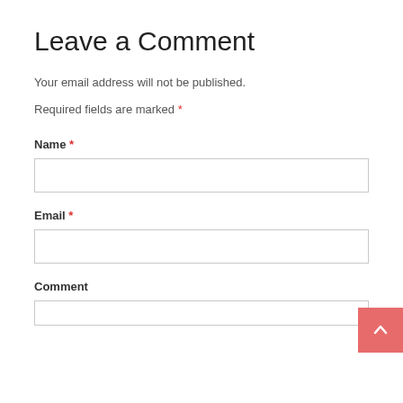Leave a Comment
Your email address will not be published.
Required fields are marked *
Name *
Email *
Comment